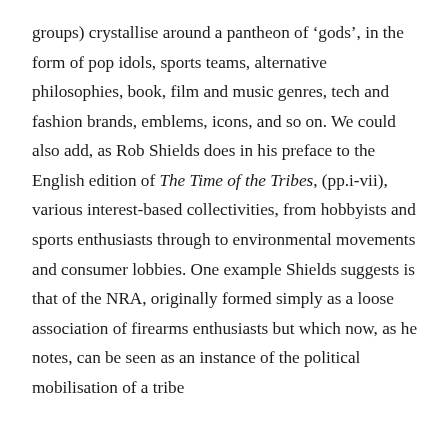groups) crystallise around a pantheon of ‘gods’, in the form of pop idols, sports teams, alternative philosophies, book, film and music genres, tech and fashion brands, emblems, icons, and so on. We could also add, as Rob Shields does in his preface to the English edition of The Time of the Tribes, (pp.i-vii), various interest-based collectivities, from hobbyists and sports enthusiasts through to environmental movements and consumer lobbies. One example Shields suggests is that of the NRA, originally formed simply as a loose association of firearms enthusiasts but which now, as he notes, can be seen as an instance of the political mobilisation of a tribe